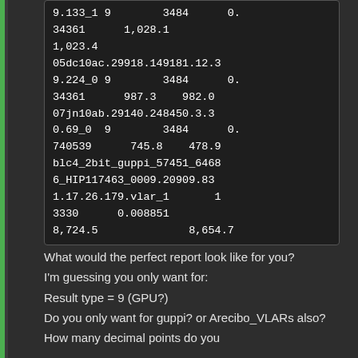9.133_1 9        3484      0.
34361      1,028.1
1,023.4
05dc10ac.29918.149181.12.3
9.224_0 9        3484      0.
34361      987.3    982.0
07jn10ab.29140.248450.3.3
0.69_0  9        3484      0.
740539      745.8    478.9
blc4_2bit_guppi_57451_6468
6_HIP117463_0009.20909.83
1.17.26.179.vlar_1       1
3330      0.008851
8,724.5              8,654.7
What would the perfect report look like for you?
I'm guessing you only want for:
Result type = 9 (GPU?)
Do you only want for guppi? or Arecibo_VLARs also?
How many decimal points do you